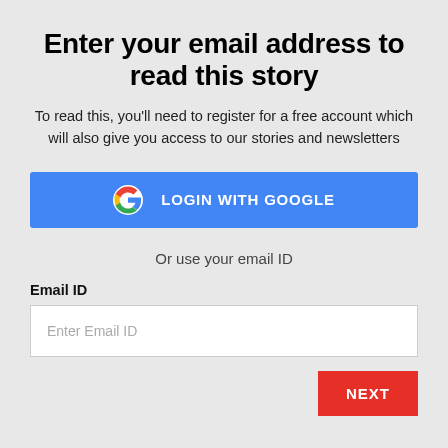Enter your email address to read this story
To read this, you'll need to register for a free account which will also give you access to our stories and newsletters
[Figure (other): Blue button with Google 'G' logo and text 'LOGIN WITH GOOGLE']
Or use your email ID
Email ID
Enter Email ID
NEXT